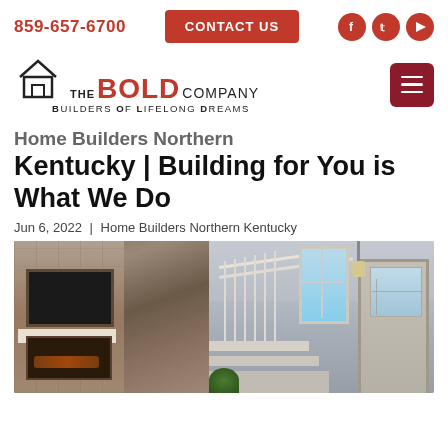859-657-6700 | CONTACT US | [social icons: Facebook, Twitter, YouTube]
[Figure (logo): The Bold Company logo — house icon with 'THE BOLD COMPANY' text and tagline 'Builders Of Lifelong Dreams']
Home Builders Northern Kentucky | Building for You is What We Do
Jun 6, 2022 | Home Builders Northern Kentucky
[Figure (photo): Interior of a new home showing a stone fireplace with wall-mounted TV and white mantel on the left, and a staircase with white railings, windows, and front door visible on the right]